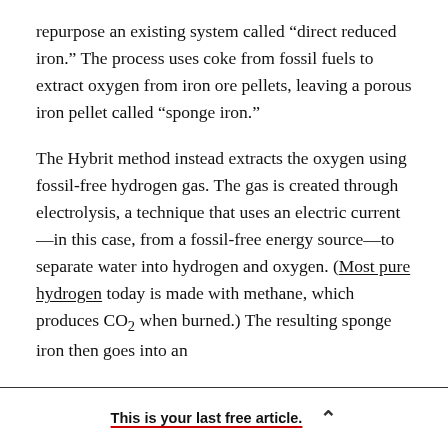repurpose an existing system called “direct reduced iron.” The process uses coke from fossil fuels to extract oxygen from iron ore pellets, leaving a porous iron pellet called “sponge iron.”
The Hybrit method instead extracts the oxygen using fossil-free hydrogen gas. The gas is created through electrolysis, a technique that uses an electric current—in this case, from a fossil-free energy source—to separate water into hydrogen and oxygen. (Most pure hydrogen today is made with methane, which produces CO₂ when burned.) The resulting sponge iron then goes into an
This is your last free article.